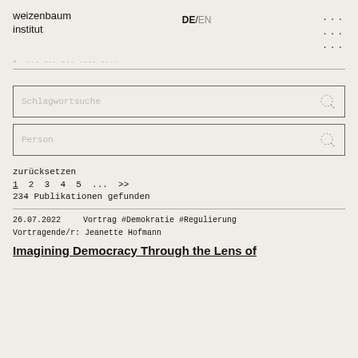weizenbaum institut | DE/EN
. --- --- --- ---- ----
Schlagwortsuche
Person
zurücksetzen
1 2 3 4 5 ... >>
234 Publikationen gefunden
26.07.2022    Vortrag #Demokratie #Regulierung
Vortragende/r: Jeanette Hofmann
Imagining Democracy Through the Lens of